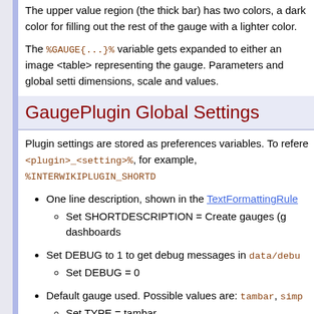The upper value region (the thick bar) has two colors, a dark color for filling out the rest of the gauge with a lighter color.
The %GAUGE{...}% variable gets expanded to either an image or a <table> representing the gauge. Parameters and global settings control dimensions, scale and values.
GaugePlugin Global Settings
Plugin settings are stored as preferences variables. To reference a plugin setting, use %<plugin>_<setting>%, for example, %INTERWIKIPLUGIN_SHORTD
One line description, shown in the TextFormattingRules
Set SHORTDESCRIPTION = Create gauges (g dashboards
Set DEBUG to 1 to get debug messages in data/debu
Set DEBUG = 0
Default gauge used. Possible values are: tambar, simp
Set TYPE = tambar
Default way to access gauge data: inline or file.